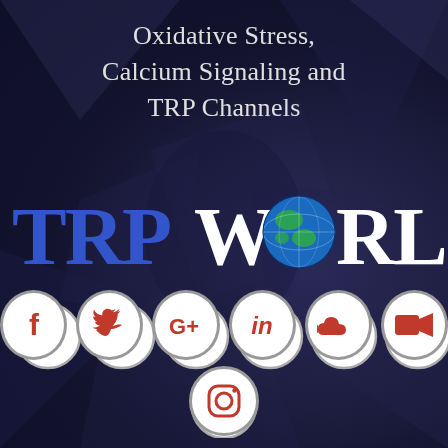Oxidative Stress, Calcium Signaling and TRP Channels
[Figure (logo): TRPWORLD logo with globe replacing the letter O in WORLD, TRP in blue serif and WORLD in white serif]
[Figure (infographic): Row of social media icons: Facebook, Twitter, Google+, LinkedIn, SoundCloud, video camera; with Instagram icon below center]